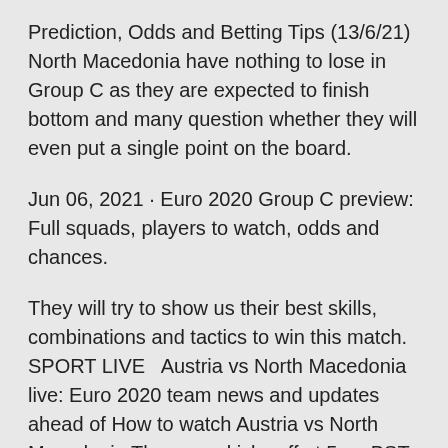Prediction, Odds and Betting Tips (13/6/21) North Macedonia have nothing to lose in Group C as they are expected to finish bottom and many question whether they will even put a single point on the board.
Jun 06, 2021 · Euro 2020 Group C preview: Full squads, players to watch, odds and chances.
They will try to show us their best skills, combinations and tactics to win this match. SPORT LIVE   Austria vs North Macedonia live: Euro 2020 team news and updates ahead of How to watch Austria vs North Macedonia The game kicks off at 5pm BST on In the United States the match will be shown on ESPN at 12pm EST / 9a North Macedonia: Euro 2020 live stream, TV channel, how to watch World Cup Qualifying - Europe clash between North Macedonia and  What